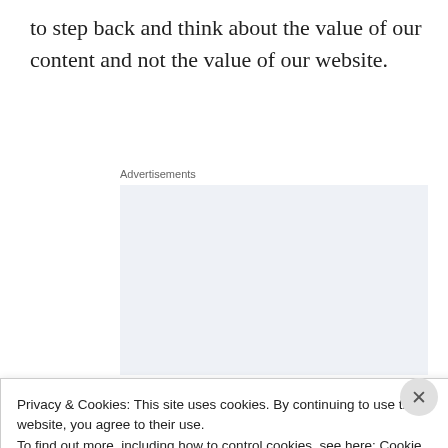to step back and think about the value of our content and not the value of our website.
Advertisements
[Figure (illustration): WordPress advertisement showing the text 'Build a writing habit. Post on the go.' with a GET THE APP call-to-action and WordPress logo icon, on a light blue-grey background.]
Privacy & Cookies: This site uses cookies. By continuing to use this website, you agree to their use.
To find out more, including how to control cookies, see here: Cookie Policy
Close and accept